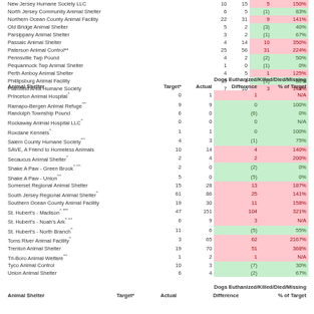| Animal Shelter | Target* | Actual | Difference | % of Target |
| --- | --- | --- | --- | --- |
| New Jersey Humane Society LLC | 10 | 15 | 5 | 150% |
| North Jersey Community Animal Shelter | 6 | 5 | (1) | 83% |
| Northern Ocean County Animal Facility | 22 | 31 | 9 | 141% |
| Old Bridge Animal Shelter | 5 | 2 | (3) | 40% |
| Parsippany Animal Shelter | 3 | 2 | (1) | 67% |
| Passaic Animal Shelter | 4 | 14 | 10 | 350% |
| Paterson Animal Control** | 25 | 56 | 31 | 224% |
| Pennsville Twp Pound | 4 | 2 | (2) | 50% |
| Pequannock Twp Animal Shelter | 1 | 0 | (1) | 0% |
| Perth Amboy Animal Shelter | 4 | 5 | 1 | 125% |
| Phillipsburg Animal Facility | 5 | 4 | (1) | 80% |
| Plainfield Area Humane Society | 7 | 10 | 3 | 143% |
| Animal Shelter | Target* | Actual | Difference | % of Target |
| --- | --- | --- | --- | --- |
| Princeton Animal Hospital^ | 0 | 1 | 1 | N/A |
| Ramapo-Bergen Animal Refuge^^ | 9 | 9 | 0 | 100% |
| Randolph Township Pound | 6 | 0 | (6) | 0% |
| Rockaway Animal Hospital LLC^ | 0 | 0 | 0 | N/A |
| Roxdane Kennels^ | 1 | 1 | 0 | 100% |
| Salem County Humane Society^^ | 4 | 3 | (1) | 75% |
| SAVE, A Friend to Homeless Animals | 10 | 14 | 4 | 140% |
| Secaucus Animal Shelter^ | 2 | 4 | 2 | 200% |
| Shake A Paw - Green Brook^ ^^ | 2 | 0 | (2) | 0% |
| Shake A Paw - Union^^ | 5 | 0 | (5) | 0% |
| Somerset Regional Animal Shelter | 15 | 28 | 13 | 187% |
| South Jersey Regional Animal Shelter^ | 61 | 86 | 25 | 141% |
| Southern Ocean County Animal Facility | 19 | 30 | 11 | 158% |
| St. Hubert's - Madison^ *** | 47 | 151 | 104 | 321% |
| St. Hubert's - Noah's Ark^ ^^ | 6 | 9 | 3 | N/A |
| St. Hubert's - North Branch^ | 11 | 6 | (5) | 55% |
| Toms River Animal Facility^ | 3 | 65 | 62 | 2167% |
| Trenton Animal Shelter | 19 | 70 | 51 | 368% |
| Tri-Boro Animal Welfare^^ | 1 | 2 | 1 | N/A |
| Tyco Animal Control | 10 | 3 | (7) | 30% |
| Union Animal Shelter | 6 | 4 | (2) | 67% |
Dogs Euthanized/Killed/Died/Missing
| Animal Shelter | Target* | Actual | Difference | % of Target |
| --- | --- | --- | --- | --- |